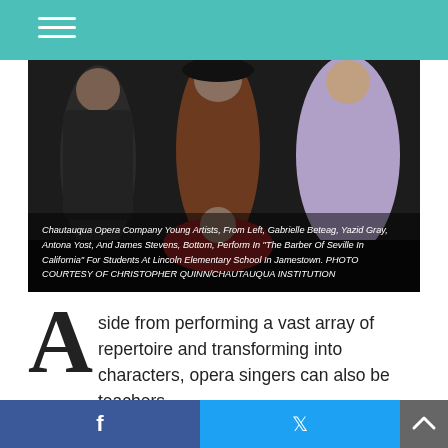[Figure (photo): Chautauqua Opera Company Young Artists performing in costume — from left: Gabrielle Beteag, Yazid Gray, Antona Yost, and James Stevens (bottom) — in 'The Barber of Seville in California' for students at Lincoln Elementary School in Jamestown.]
Chautauqua Opera Company Young Artists, From Left, Gabrielle Beteag, Yazid Gray, Antona Yost, And James Stevens, Bottom, Perform In "The Barber Of Seville In California" For Students At Lincoln Elementary School In Jamestown. PHOTO COURTESY OF CHRISTOPHER QUINN/CHAUTAUQUA INSTITUTION
Aside from performing a vast array of repertoire and transforming into characters, opera singers can also be teachers.
In June, Chautauqua Opera Company Young Artists, including tenor James Stevens, mezzo-soprano -soprano Gabrielle Beteag and